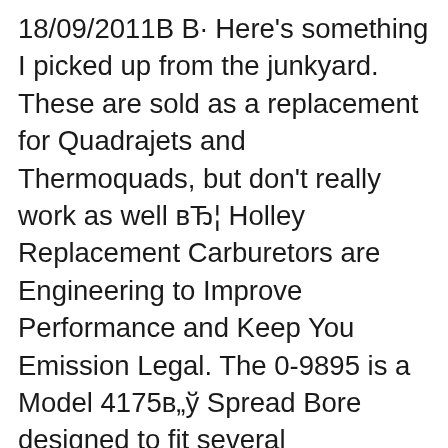18/09/2011В В· Here's something I picked up from the junkyard. These are sold as a replacement for Quadrajets and Thermoquads, but don't really work as well вЂ¦ Holley Replacement Carburetors are Engineering to Improve Performance and Keep You Emission Legal. The 0-9895 is a Model 4175в„ў Spread Bore designed to fit several applications. See application chart below in tech resources for specific details.
Product Details: 45-225 HOLLEY MANUAL CHOKE KIT Fits models 2300 4150 and 4160 All of the parts required for a fast, easy changeover to hand choke operation. Holley List Numbers -